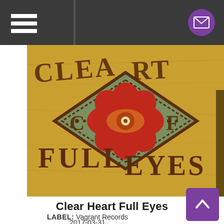[Figure (other): Navigation bar with hamburger menu icon on left and purple mail icon on right, dark gray background]
[Figure (photo): Album cover for Clear Heart Full Eyes - golden/yellow fabric banner with dark brown decorative lettering spelling CLEAR HEART FULL EYES around a central diamond shape containing a stylized flower/eye motif in red, green, and orange]
Clear Heart Full Eyes
LABEL: Vagrant Records
2017-03-31